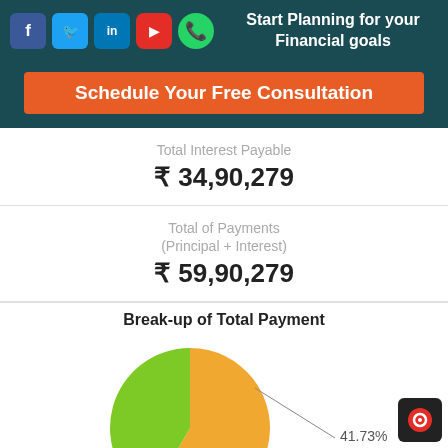Start Planning for your Financial goals
Schedule Your Free Consultation
Total Interest Payable ₹ 34,90,279
Total of Payments (Principal + Interest) ₹ 59,90,279
[Figure (pie-chart): Break-up of Total Payment]